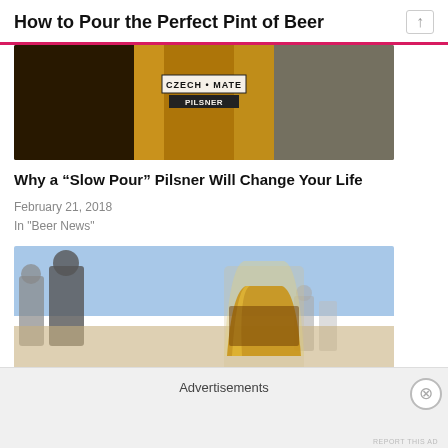How to Pour the Perfect Pint of Beer
[Figure (photo): Close-up photo of a Czech Mate Pilsner beer glass with golden beer, dark background]
Why a “Slow Pour” Pilsner Will Change Your Life
February 21, 2018
In "Beer News"
[Figure (photo): Outdoor gathering scene with people in background and a close-up of a beer glass in the foreground with golden beer]
Advertisements